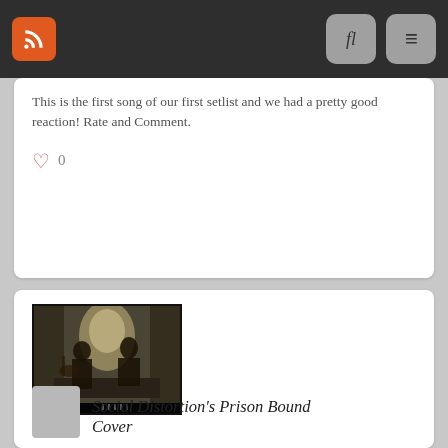Navigation bar with RSS icon, search icon, and menu icon
This is the first song of our first setlist and we had a pretty good reaction! Rate and Comment.
0
[Figure (photo): Video thumbnail showing two people in a dimly lit room, one playing guitar, with a table in front of them. Scene appears to be indoors with curtains in background.]
Social Distortion's Prison Bound Cover